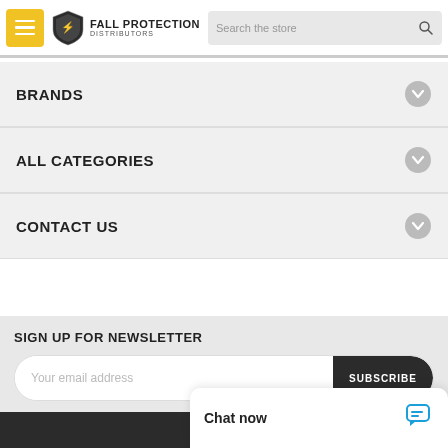Fall Protection Distributors — Search the store
BRANDS
ALL CATEGORIES
CONTACT US
SIGN UP FOR NEWSLETTER
Your email address  SUBSCRIBE
FOLLOW US
Chat now